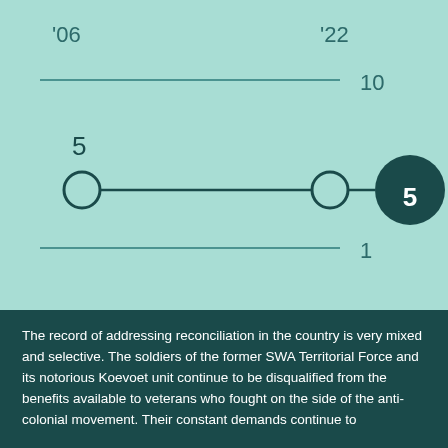[Figure (line-chart): Line chart on teal background showing a horizontal line from '06 to '22 at value 5. Y-axis shows gridlines at 10 (top) and 1 (bottom). A filled dark circle marker labeled 5 appears at the right edge.]
The record of addressing reconciliation in the country is very mixed and selective. The soldiers of the former SWA Territorial Force and its notorious Koevoet unit continue to be disqualified from the benefits available to veterans who fought on the side of the anti-colonial movement. Their constant demands continue to